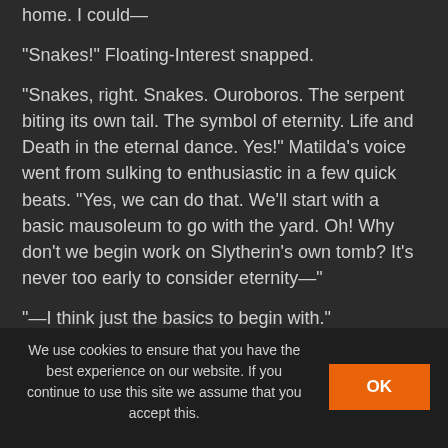home. I could—
"Snakes!" Floating-Interest snapped.
"Snakes, right. Snakes. Ouroboros. The serpent biting its own tail. The symbol of eternity. Life and Death in the eternal dance. Yes!" Matilda's voice went from sulking to enthusiastic in a few quick beats. "Yes, we can do that. We'll start with a basic mausoleum to go with the yard. Oh! Why don't we begin work on Slytherin's own tomb? It's never too early to consider eternity—"
"—I think just the basics to begin with."
"Right, just the basics, right. Elegance. Panache. Every lord should have their own little patch of darkness."
As the wizard rambled on, Floating-Interest rubbed at her
We use cookies to ensure that you have the best experience on our website. If you continue to use this site we assume that you accept this.
OK